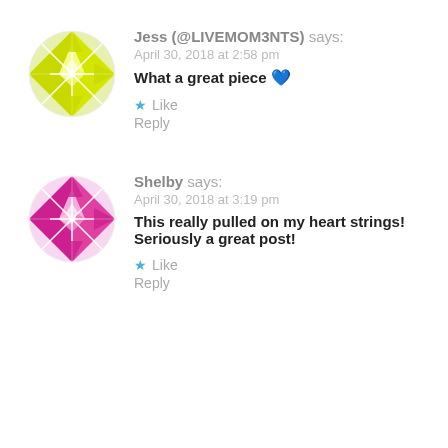[Figure (illustration): Yellow/lime geometric quilt-pattern circular avatar for user Jess]
Jess (@LIVEMOM3NTS) says:
April 30, 2018 at 2:58 pm
What a great piece 💙
★ Like
Reply
[Figure (illustration): Pink/magenta geometric quilt-pattern circular avatar for user Shelby]
Shelby says:
April 30, 2018 at 3:19 pm
This really pulled on my heart strings! Seriously a great post!
★ Like
Reply